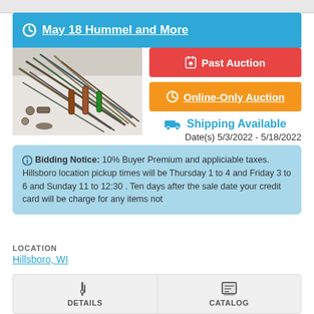May 18 Hummel and More
[Figure (photo): A collection of various tools including screwdrivers, pliers and other hand tools spread on a white surface]
Past Auction
Online-Only Auction
Shipping Available
Date(s) 5/3/2022 - 5/18/2022
Bidding Notice: 10% Buyer Premium and appliciable taxes. Hillsboro location pickup times will be Thursday 1 to 4 and Friday 3 to 6 and Sunday 11 to 12:30 . Ten days after the sale date your credit card will be charge for any items not
LOCATION
Hillsboro, WI
DETAILS
CATALOG